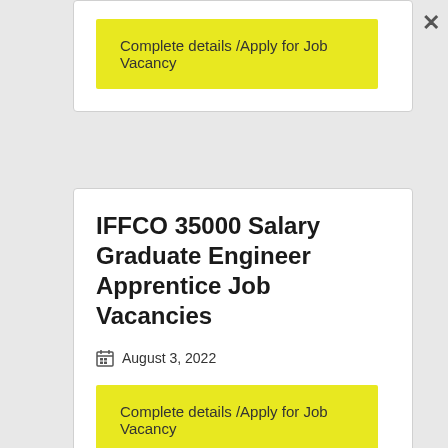Complete details /Apply for Job Vacancy
IFFCO 35000 Salary Graduate Engineer Apprentice Job Vacancies
August 3, 2022
Complete details /Apply for Job Vacancy